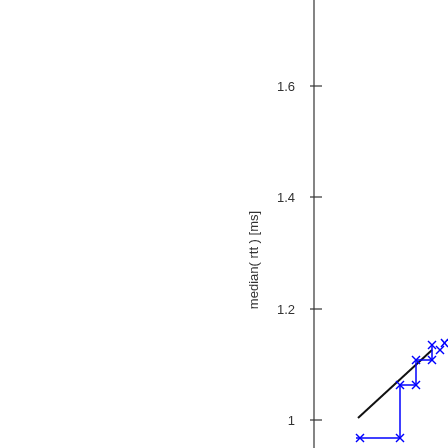[Figure (continuous-plot): Partial view of a line chart showing median(rtt) [ms] on the y-axis with tick marks at 1, 1.2, 1.4, 1.6. The plot is cropped — only the right portion and bottom of the chart area are visible. A vertical axis line runs near x=630 of the original. A black diagonal line and blue scattered data points with x markers appear in the bottom-right corner of the visible area, roughly between y=1.0 and y=1.1.]